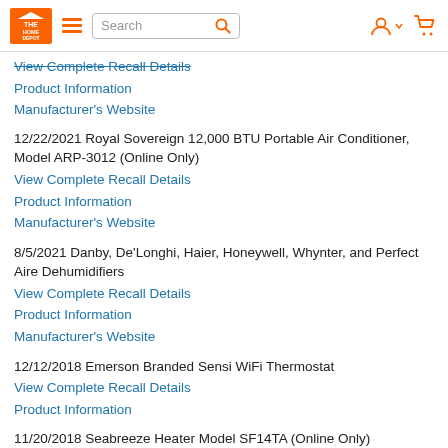Home Depot navigation bar with logo, hamburger menu, search, account, and cart icons
View Complete Recall Details (strikethrough)
Product Information
Manufacturer's Website
12/22/2021 Royal Sovereign 12,000 BTU Portable Air Conditioner, Model ARP-3012 (Online Only)
View Complete Recall Details
Product Information
Manufacturer's Website
8/5/2021 Danby, De'Longhi, Haier, Honeywell, Whynter, and Perfect Aire Dehumidifiers
View Complete Recall Details
Product Information
Manufacturer's Website
12/12/2018 Emerson Branded Sensi WiFi Thermostat
View Complete Recall Details
Product Information
11/20/2018 Seabreeze Heater Model SF14TA (Online Only)
View Complete Recall Details
Product Information